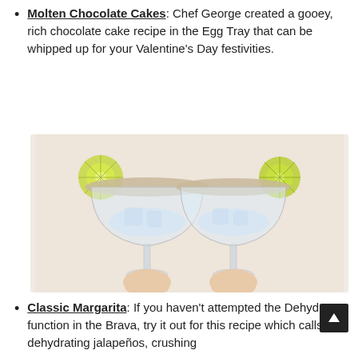Molten Chocolate Cakes: Chef George created a gooey, rich chocolate cake recipe in the Egg Tray that can be whipped up for your Valentine's Day festivities.
[Figure (photo): Two margarita glasses being clinked together, each garnished with a lime wheel on the rim and a salted/spiced rim, held by two hands against a light peach background.]
Classic Margarita: If you haven't attempted the Dehydrate function in the Brava, try it out for this recipe which calls for dehydrating jalapeños, crushing